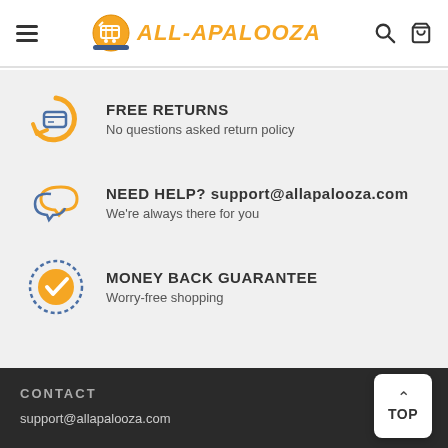ALL-APALOOZA
FREE RETURNS — No questions asked return policy
NEED HELP? support@allapalooza.com — We're always there for you
MONEY BACK GUARANTEE — Worry-free shopping
CONTACT
support@allapalooza.com